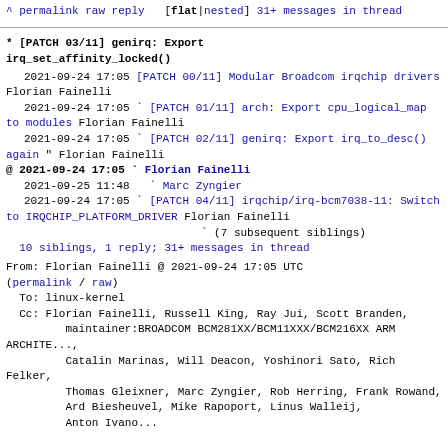^ permalink raw reply  [flat|nested] 31+ messages in thread
* [PATCH 03/11] genirq: Export irq_set_affinity_locked()
2021-09-24 17:05 [PATCH 00/11] Modular Broadcom irqchip drivers Florian Fainelli
2021-09-24 17:05 ` [PATCH 01/11] arch: Export cpu_logical_map to modules Florian Fainelli
2021-09-24 17:05 ` [PATCH 02/11] genirq: Export irq_to_desc() again " Florian Fainelli
@ 2021-09-24 17:05 ` Florian Fainelli
2021-09-25 11:48   ` Marc Zyngier
2021-09-24 17:05 ` [PATCH 04/11] irqchip/irq-bcm7038-11: Switch to IRQCHIP_PLATFORM_DRIVER Florian Fainelli
` (7 subsequent siblings)
10 siblings, 1 reply; 31+ messages in thread
From: Florian Fainelli @ 2021-09-24 17:05 UTC
(permalink / raw)
  To: linux-kernel
  Cc: Florian Fainelli, Russell King, Ray Jui, Scott Branden,
        maintainer:BROADCOM BCM281XX/BCM11XXX/BCM216XX ARM ARCHITE...,
        Catalin Marinas, Will Deacon, Yoshinori Sato, Rich Felker,
        Thomas Gleixner, Marc Zyngier, Rob Herring, Frank Rowand,
        Ard Biesheuvel, Mike Rapoport, Linus Walleij,
        Anton Ivano...